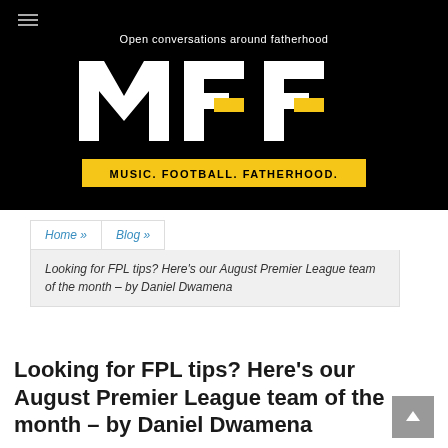[Figure (logo): MFF – Music. Football. Fatherhood. logo on black background with tagline 'Open conversations around fatherhood']
Home » Blog »
Looking for FPL tips? Here's our August Premier League team of the month – by Daniel Dwamena
Looking for FPL tips? Here's our August Premier League team of the month – by Daniel Dwamena